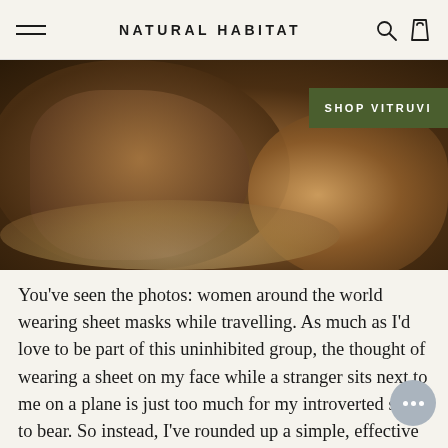NATURAL HABITAT
[Figure (photo): Close-up warm-toned photo of cozy fabric or draped textile in brown and tan tones, with a green 'SHOP VITRUVI' badge overlaid on the upper right]
You've seen the photos: women around the world wearing sheet masks while travelling. As much as I'd love to be part of this uninhibited group, the thought of wearing a sheet on my face while a stranger sits next to me on a plane is just too much for my introverted soul to bear. So instead, I've rounded up a simple, effective inflight skincare routine that you can go about without all the stares.